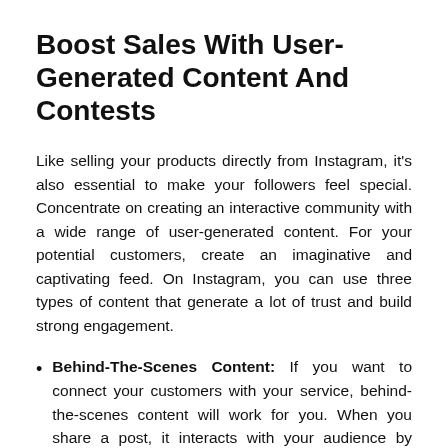Boost Sales With User-Generated Content And Contests
Like selling your products directly from Instagram, it's also essential to make your followers feel special. Concentrate on creating an interactive community with a wide range of user-generated content. For your potential customers, create an imaginative and captivating feed. On Instagram, you can use three types of content that generate a lot of trust and build strong engagement.
Behind-The-Scenes Content: If you want to connect your customers with your service, behind-the-scenes content will work for you. When you share a post, it interacts with your audience by letting them know about your company's image in various stages and builds a